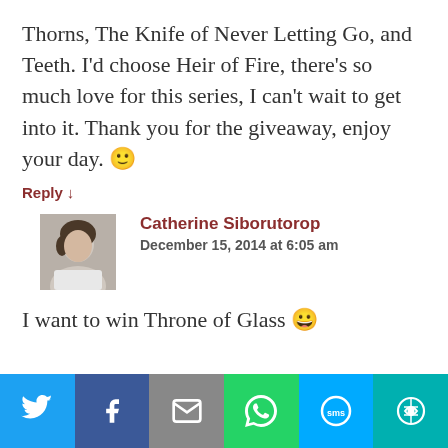Thorns, The Knife of Never Letting Go, and Teeth. I'd choose Heir of Fire, there's so much love for this series, I can't wait to get into it. Thank you for the giveaway, enjoy your day. 🙂
Reply ↓
[Figure (photo): Profile photo of Catherine Siborutorop]
Catherine Siborutorop
December 15, 2014 at 6:05 am
I want to win Throne of Glass 😃
[Figure (infographic): Social media share bar with Twitter, Facebook, Email, WhatsApp, SMS, and More buttons]